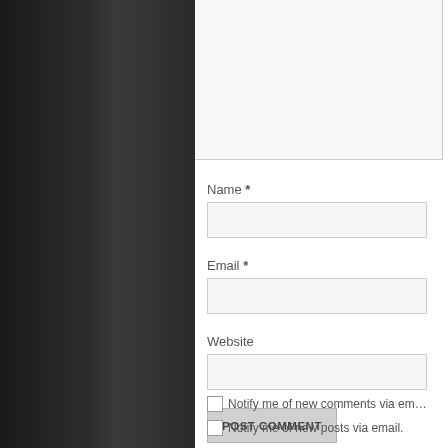[Figure (screenshot): Dark sidebar navigation panel on the left side of the page]
Comment textarea (empty input area)
Name *
Email *
Website
POST COMMENT
Notify me of new comments via email.
Notify me of new posts via email.